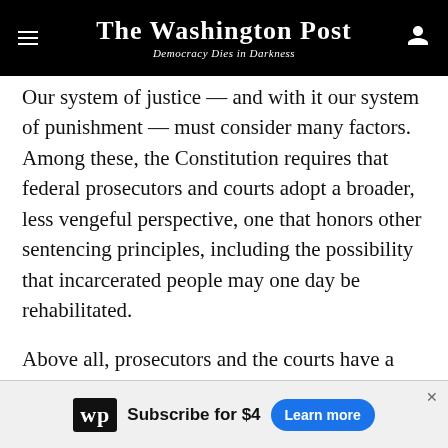The Washington Post — Democracy Dies in Darkness
Our system of justice — and with it our system of punishment — must consider many factors. Among these, the Constitution requires that federal prosecutors and courts adopt a broader, less vengeful perspective, one that honors other sentencing principles, including the possibility that incarcerated people may one day be rehabilitated.
Above all, prosecutors and the courts have a duty to ensure that the incarcerated — yes, even the killers of Ahmaud Arbery — do not suffer for suffering's sake. In this case, denying a plea deal is not any form of justice.
[Figure (other): Washington Post subscription advertisement banner: wp logo, 'Subscribe for $4', 'Learn more' button]